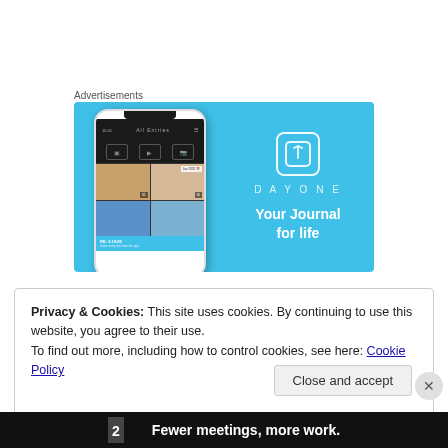Advertisements
[Figure (illustration): DayOne app advertisement on a sky-blue background. Left side shows a phone mockup displaying the DayOne journal app interface with photo grid. Right side shows the DayOne logo (book icon), the text DAYONE in spaced letters, and the tagline 'Your Journal for life' in bold white.]
Privacy & Cookies: This site uses cookies. By continuing to use this website, you agree to their use.
To find out more, including how to control cookies, see here: Cookie Policy
Close and accept
[Figure (illustration): Bottom banner advertisement with dark background showing a logo and text 'Fewer meetings, more work.']